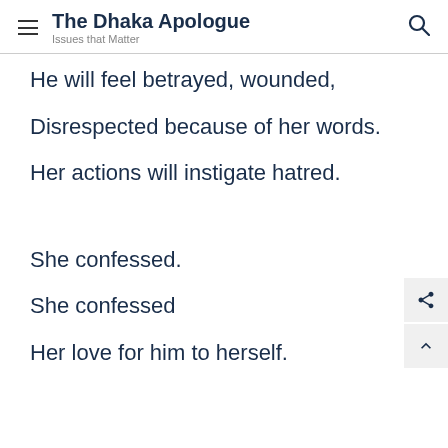The Dhaka Apologue — Issues that Matter
He will feel betrayed, wounded,
Disrespected because of her words.
Her actions will instigate hatred.
She confessed.
She confessed
Her love for him to herself.